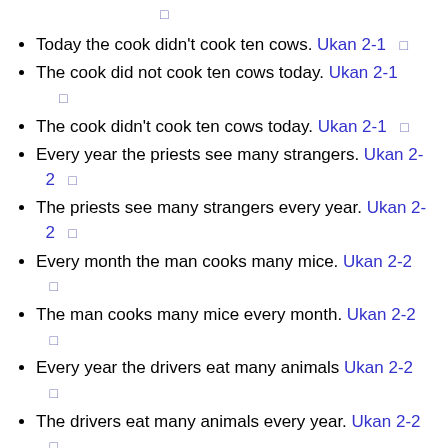□
Today the cook didn't cook ten cows. Ukan 2-1 □
The cook did not cook ten cows today. Ukan 2-1 □
The cook didn't cook ten cows today. Ukan 2-1 □
Every year the priests see many strangers. Ukan 2-2 □
The priests see many strangers every year. Ukan 2-2 □
Every month the man cooks many mice. Ukan 2-2 □
The man cooks many mice every month. Ukan 2-2 □
Every year the drivers eat many animals Ukan 2-2 □
The drivers eat many animals every year. Ukan 2-2 □
Next… Ukan 2-2…